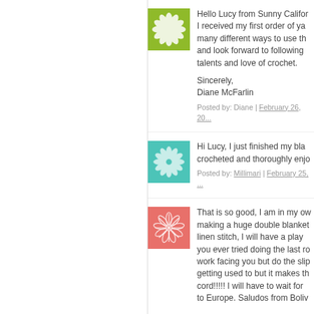Hello Lucy from Sunny California! I received my first order of yarn in many different ways to use the and look forward to following y talents and love of crochet.

Sincerely,
Diane McFarlin
Posted by: Diane | February 26, 20...
Hi Lucy, I just finished my bla... crocheted and thoroughly enjo...
Posted by: Millimari | February 25, ...
That is so good, I am in my ow... making a huge double blanket... linen stitch, I will have a play w... you ever tried doing the last ro... work facing you but do the slip... getting used to but it makes th... cord!!!!! I will have to wait for m... to Europe. Saludos from Boliv...